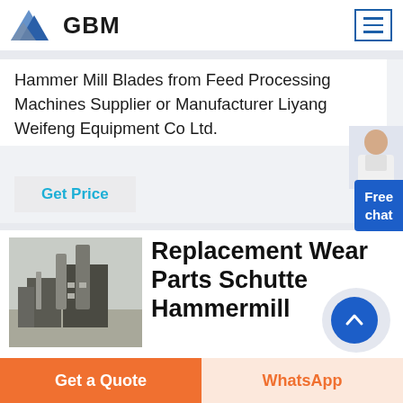[Figure (logo): GBM logo with blue/grey mountain triangle icon and bold GBM text]
Hammer Mill Blades from Feed Processing Machines Supplier or Manufacturer Liyang Weifeng Equipment Co Ltd.
Get Price
Free chat
[Figure (photo): Industrial factory or processing plant exterior photo with tall silos and structures]
Replacement Wear Parts Schutte Hammermill
We maintain a large inventory of replacement wear
Get a Quote
WhatsApp